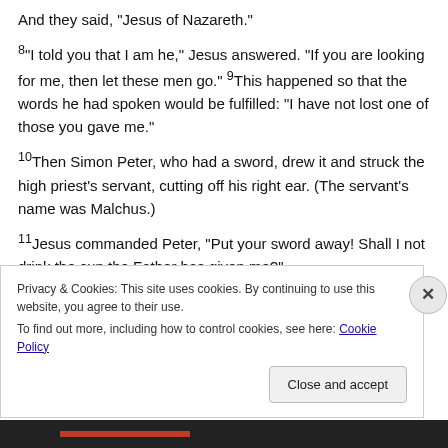And they said, “Jesus of Nazareth.”
8“I told you that I am he,” Jesus answered. “If you are looking for me, then let these men go.” 9This happened so that the words he had spoken would be fulfilled: “I have not lost one of those you gave me.”
10Then Simon Peter, who had a sword, drew it and struck the high priest’s servant, cutting off his right ear. (The servant’s name was Malchus.)
11Jesus commanded Peter, “Put your sword away! Shall I not drink the cup the Father has given me?”
The De— of No De—
Privacy & Cookies: This site uses cookies. By continuing to use this website, you agree to their use.
To find out more, including how to control cookies, see here: Cookie Policy
Close and accept